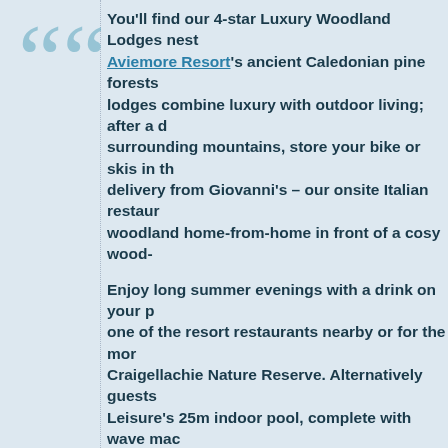You'll find our 4-star Luxury Woodland Lodges nestled in Aviemore Resort's ancient Caledonian pine forests. Our lodges combine luxury with outdoor living; after a day in the surrounding mountains, store your bike or skis in the lodge, order delivery from Giovanni's – our onsite Italian restaurant – and enjoy woodland home-from-home in front of a cosy wood-
Enjoy long summer evenings with a drink on your patio, dine at one of the resort restaurants nearby or for the more active, visit Craigellachie Nature Reserve. Alternatively guests can use Macdonald Leisure's 25m indoor pool, complete with wave mac-
Each of our lodges sleeps up to 6 people in three en- include:
Living Room with flat screen TV, DVD player
Gallery Kitchen with a 4 ring hob, microwave, coffee machine, tableware and cutlery
Breakfast Table with 6 chairs
“All-in-one” cupboard with iron & board, high ones” and vacuum cleaner
Ground Floor – 1 King with WC, Bath and separate s Shower